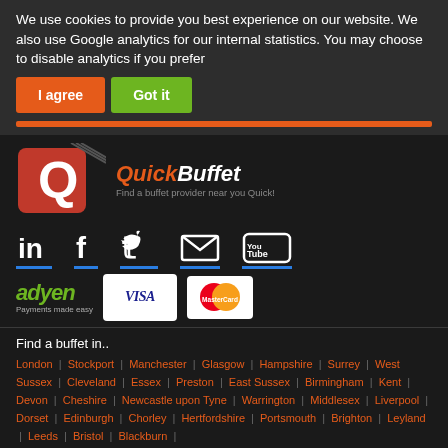We use cookies to provide you best experience on our website. We also use Google analytics for our internal statistics. You may choose to disable analytics if you prefer
[Figure (screenshot): Cookie consent buttons: 'I agree' (orange) and 'Got it' (green)]
[Figure (logo): QuickBuffet logo with Q icon and fork graphic, tagline: Find a buffet provider near you Quick!]
[Figure (infographic): Social media icons: LinkedIn, Facebook, Twitter, Email, YouTube with blue underlines]
[Figure (infographic): Payment providers: Adyen (Payments made easy), VISA, MasterCard logos]
Find a buffet in..
London | Stockport | Manchester | Glasgow | Hampshire | Surrey | West Sussex | Cleveland | Essex | Preston | East Sussex | Birmingham | Kent | Devon | Cheshire | Newcastle upon Tyne | Warrington | Middlesex | Liverpool | Dorset | Edinburgh | Chorley | Hertfordshire | Portsmouth | Brighton | Leyland | Leeds | Bristol | Blackburn |